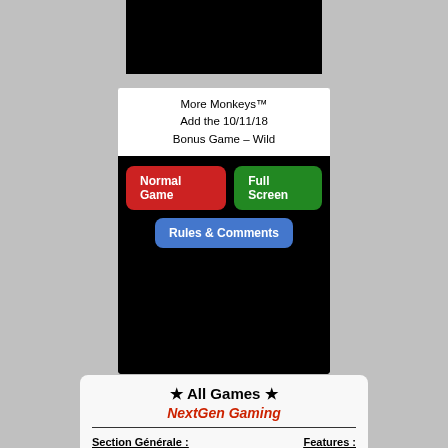[Figure (screenshot): Black game area rectangle at top]
More Monkeys™
Add the 10/11/18
Bonus Game – Wild
[Figure (screenshot): Game interface panel with Normal Game (red button), Full Screen (green button), and Rules & Comments (blue button) on black background]
★ All Games ★
NextGen Gaming
Section Générale :
Features :